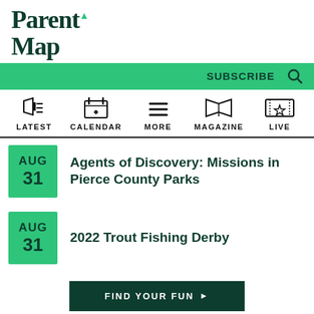ParentMap
SUBSCRIBE
[Figure (infographic): Navigation icons: LATEST (megaphone), CALENDAR (calendar with heart), MORE (hamburger menu), MAGAZINE (open book), LIVE (ticket/star)]
AUG 31 - Agents of Discovery: Missions in Pierce County Parks
AUG 31 - 2022 Trout Fishing Derby
FIND YOUR FUN
- You Might Also Like -